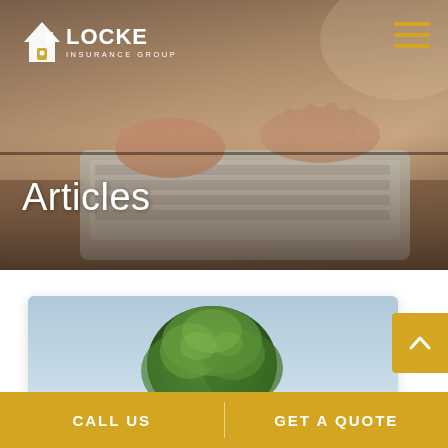[Figure (photo): Hero banner showing hands typing on a laptop keyboard, warm toned photo with soft bokeh background]
[Figure (logo): Locke Insurance Group logo — white house icon with lock, text LOCKE INSURANCE GROUP in white]
Articles
[Figure (photo): Card thumbnail showing a large green tree against a light sky background]
CALL US
GET A QUOTE